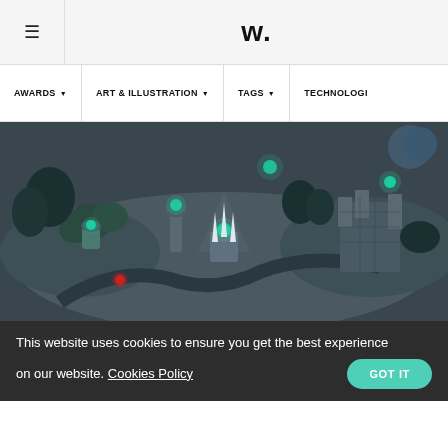W.
AWARDS  |  ART & ILLUSTRATION  |  TAGS  |  TECHNOLOGI
[Figure (illustration): Fantasy/strategy game map illustration called 'Alchemic World' showing an aerial view of a dark fantasy landscape with glowing teal/green buildings, towers, trees and structures on a grey terrain.]
Alchemic World
From Germany   [date] 3, 2022
This website uses cookies to ensure you get the best experience on our website. Cookies Policy   GOT IT